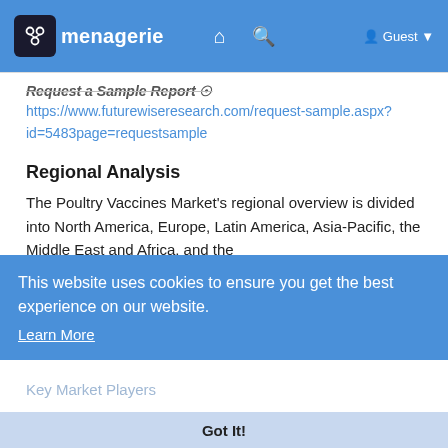menagerie — Guest
Request a Sample Report @ https://www.futurewiseresearch.com/request-sample.aspx?id=5483page=requestsample
Regional Analysis
The Poultry Vaccines Market's regional overview is divided into North America, Europe, Latin America, Asia-Pacific, the Middle East and Africa, and the Rest of the World.
...highest CAGR (compound annual growth rate) of the forecast period...throughout the projection period.
This website uses cookies to ensure you get the best experience on our website. Learn More
Got It!
Key Market Players
Merck Co. Inc.